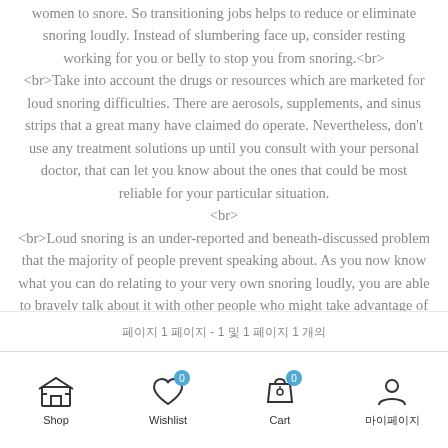women to snore. So transitioning jobs helps to reduce or eliminate snoring loudly. Instead of slumbering face up, consider resting working for you or belly to stop you from snoring.<br> <br>Take into account the drugs or resources which are marketed for loud snoring difficulties. There are aerosols, supplements, and sinus strips that a great many have claimed do operate. Nevertheless, don't use any treatment solutions up until you consult with your personal doctor, that can let you know about the ones that could be most reliable for your particular situation. <br> <br>Loud snoring is an under-reported and beneath-discussed problem that the majority of people prevent speaking about. As you now know what you can do relating to your very own snoring loudly, you are able to bravely talk about it with other people who might take advantage of the details too.<br>
페이지 1 페이지 - 1 및 1 페이지 1 개의